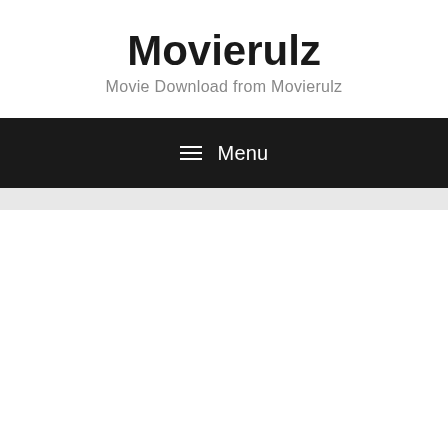Movierulz
Movie Download from Movierulz
≡ Menu